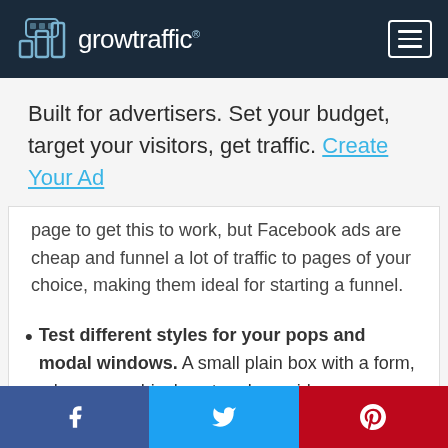growtraffic
Built for advertisers. Set your budget, target your visitors, get traffic. Create Your Ad
page to get this to work, but Facebook ads are cheap and funnel a lot of traffic to pages of your choice, making them ideal for starting a funnel.
Test different styles for your pops and modal windows. A small plain box with a form, a larger graphical postcard, a quirky
Facebook | Twitter | Pinterest